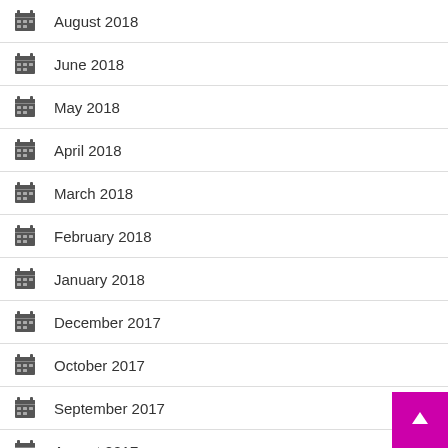August 2018
June 2018
May 2018
April 2018
March 2018
February 2018
January 2018
December 2017
October 2017
September 2017
August 2017
May 2017
April 2017